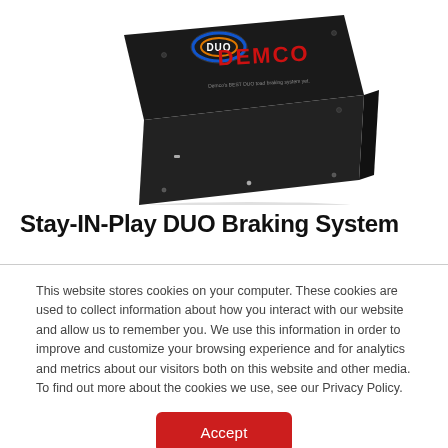[Figure (photo): Photo of a black rectangular Demco Stay-IN-Play DUO braking system control box with red DEMCO logo and blue/orange DUO logo on top]
Stay-IN-Play DUO Braking System
This website stores cookies on your computer. These cookies are used to collect information about how you interact with our website and allow us to remember you. We use this information in order to improve and customize your browsing experience and for analytics and metrics about our visitors both on this website and other media. To find out more about the cookies we use, see our Privacy Policy.
Accept